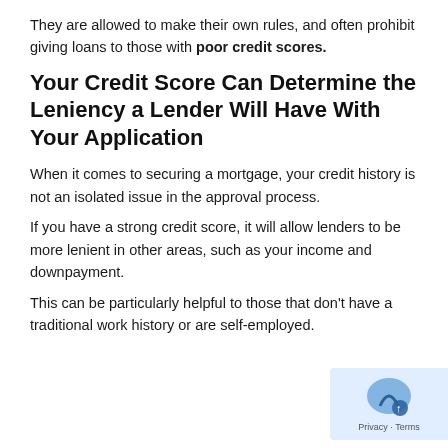They are allowed to make their own rules, and often prohibit giving loans to those with poor credit scores.
Your Credit Score Can Determine the Leniency a Lender Will Have With Your Application
When it comes to securing a mortgage, your credit history is not an isolated issue in the approval process.
If you have a strong credit score, it will allow lenders to be more lenient in other areas, such as your income and downpayment.
This can be particularly helpful to those that don’t have a traditional work history or are self-employed.